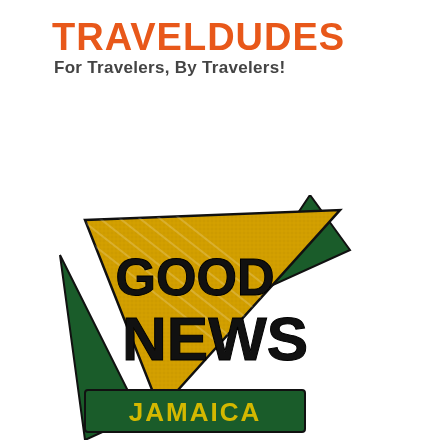[Figure (logo): TravelDudes logo: bold orange text 'TRAVELDUDES' with tagline 'For Travelers, By Travelers!' in dark gray below]
[Figure (logo): Good News Jamaica badge logo: gold/yellow angular triangular shape with dark green accent triangles, bold black text 'GOOD NEWS' and dark green banner with yellow text 'JAMAICA']